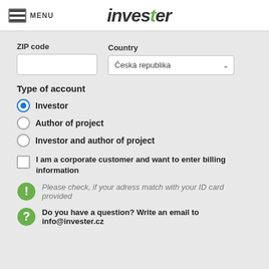MENU | invester
ZIP code / Country form fields
Type of account
Investor (selected)
Author of project
Investor and author of project
I am a corporate customer and want to enter billing information
Please check, if your adress match with your ID card provided
Do you have a question? Write an email to info@invester.cz